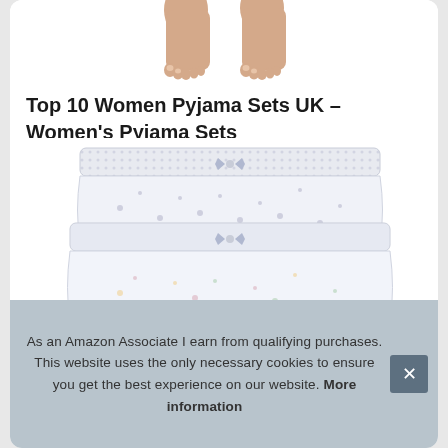[Figure (photo): Cropped photo showing bare feet/legs of a person, white background, top portion cut off]
Top 10 Women Pyjama Sets UK – Women's Pyjama Sets
[Figure (photo): Stack of three women's floral patterned cotton briefs/shorts underwear, white background, light floral prints]
As an Amazon Associate I earn from qualifying purchases. This website uses the only necessary cookies to ensure you get the best experience on our website. More information